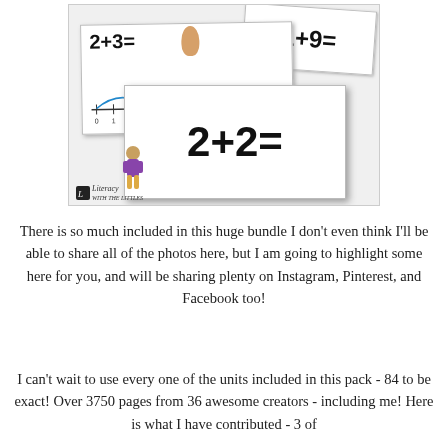[Figure (illustration): Educational math flashcards showing addition problems (2+3=, 1+9=, 2+2=) with a number line from 0 to 10 and cartoon children characters. A 'Literacy with the Littles' logo is in the bottom left corner of the image.]
There is so much included in this huge bundle I don't even think I'll be able to share all of the photos here, but I am going to highlight some here for you, and will be sharing plenty on Instagram, Pinterest, and Facebook too!
I can't wait to use every one of the units included in this pack - 84 to be exact! Over 3750 pages from 36 awesome creators - including me! Here is what I have contributed - 3 of